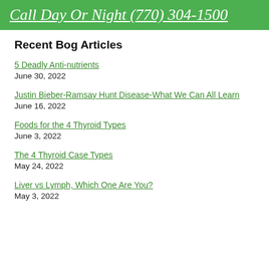Call Day Or Night (770) 304-1500
Recent Bog Articles
5 Deadly Anti-nutrients
June 30, 2022
Justin Bieber-Ramsay Hunt Disease-What We Can All Learn
June 16, 2022
Foods for the 4 Thyroid Types
June 3, 2022
The 4 Thyroid Case Types
May 24, 2022
Liver vs Lymph, Which One Are You?
May 3, 2022